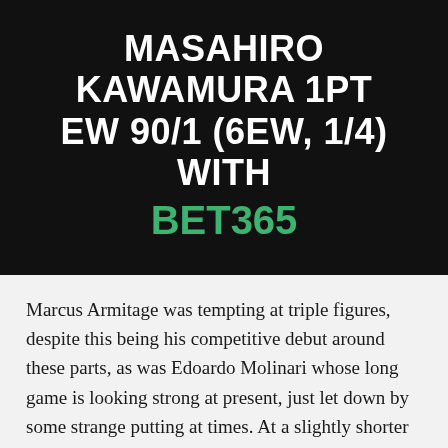MASAHIRO KAWAMURA 1PT EW 90/1 (6EW, 1/4) WITH BET365
Marcus Armitage was tempting at triple figures, despite this being his competitive debut around these parts, as was Edoardo Molinari whose long game is looking strong at present, just let down by some strange putting at times. At a slightly shorter price though I'm back Masahiro Kawamura who continues to impress as he looks to break through at European Tour level.
It's been nearly 8 years since the Japanese golfer